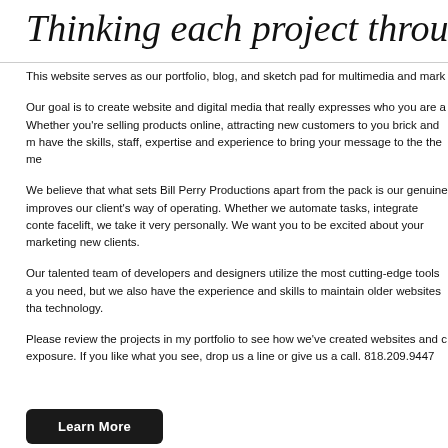Thinking each project through, fo
This website serves as our portfolio, blog, and sketch pad for multimedia and mark
Our goal is to create website and digital media that really expresses who you are a Whether you're selling products online, attracting new customers to you brick and m have the skills, staff, expertise and experience to bring your message to the the me
We believe that what sets Bill Perry Productions apart from the pack is our genuine improves our client's way of operating. Whether we automate tasks, integrate conte facelift, we take it very personally. We want you to be excited about your marketing new clients.
Our talented team of developers and designers utilize the most cutting-edge tools a you need, but we also have the experience and skills to maintain older websites tha technology.
Please review the projects in my portfolio to see how we've created websites and c exposure. If you like what you see, drop us a line or give us a call. 818.209.9447
Learn More